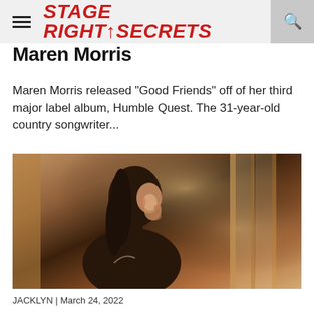STAGE RIGHT SECRETS
Maren Morris
Maren Morris released "Good Friends" off of her third major label album, Humble Quest. The 31-year-old country songwriter...
[Figure (photo): A young woman with dark hair looking out a window, warm golden light, soft focus background with curtains and window frame visible.]
JACKLYN | March 24, 2022